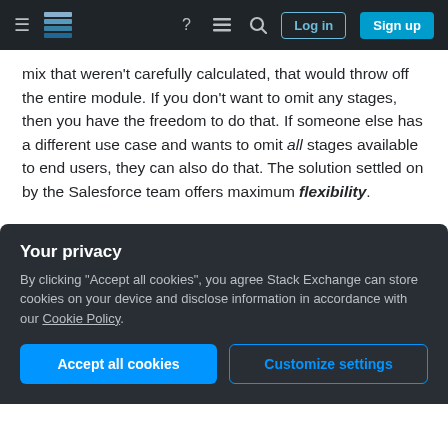Stack Exchange navigation bar with hamburger menu, logo, icons, Log in, Sign up buttons
mix that weren't carefully calculated, that would throw off the entire module. If you don't want to omit any stages, then you have the freedom to do that. If someone else has a different use case and wants to omit all stages available to end users, they can also do that. The solution settled on by the Salesforce team offers maximum flexibility.
Share   answered Apr 21, 2017 at 11:39
Improve this answer   Adrian Larson ◆
Follow   144k • 32 • 211 • 393
Your privacy
By clicking "Accept all cookies", you agree Stack Exchange can store cookies on your device and disclose information in accordance with our Cookie Policy.
Accept all cookies   Customize settings